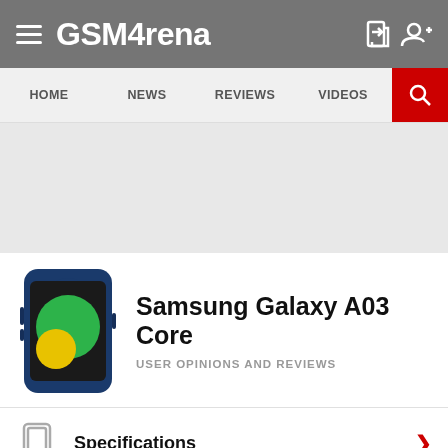GSMArena
HOME NEWS REVIEWS VIDEOS
[Figure (other): Advertisement / banner placeholder area (gray)]
Samsung Galaxy A03 Core
USER OPINIONS AND REVIEWS
Specifications
Compare